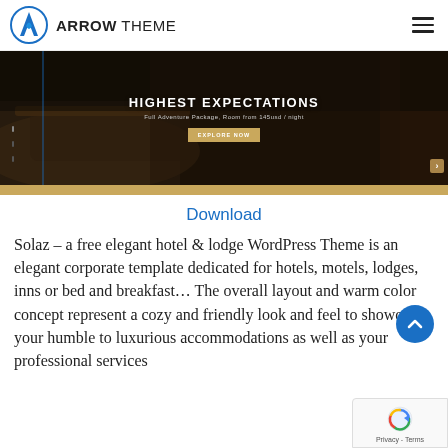[Figure (logo): Arrow Theme logo: blue circle with letter A icon, text ARROW THEME, and hamburger menu icon on right]
[Figure (screenshot): Hotel website hero screenshot showing dark bedroom image with text 'HIGHEST EXPECTATIONS', subtitle 'Full Adventure Package, Room from 145usd / night', and 'EXPLORE NOW' button. Tan/gold bar at bottom.]
Download
Solaz – a free elegant hotel & lodge WordPress Theme is an elegant corporate template dedicated for hotels, motels, lodges, inns or bed and breakfast… The overall layout and warm color concept represent a cozy and friendly look and feel to showcase your humble to luxurious accommodations as well as your professional services